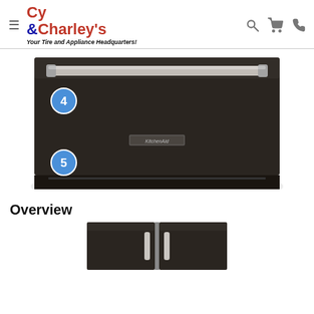Cy & Charley's — Your Tire and Appliance Headquarters!
[Figure (photo): KitchenAid black stainless steel warming drawer with numbered callout circles 4 and 5, showing the drawer from the front with a silver bar handle at the top]
Overview
[Figure (photo): KitchenAid black stainless steel refrigerator doors with silver handles, partially visible at the bottom of the page]